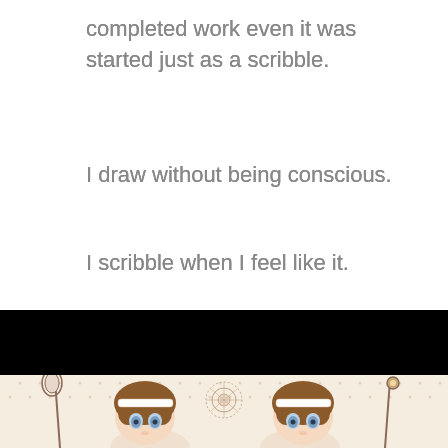completed work even it was started just as a scribble.
I draw without being conscious.
I scribble when I feel like it.
[Figure (illustration): Black band at the bottom third of the page, followed by a partial view of an anime-style illustration showing two chibi girls with brown hair, blue eyes, and lace headpieces on a cream dotted background with heart patterns. One holds a hand mirror wand and the other holds a staff. A decorative lace doily motif appears between them.]